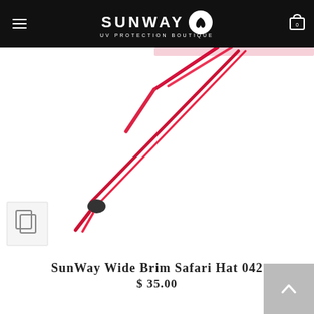SUNWAY UV PROTECTION BOUTIQUE
[Figure (photo): Close-up product photo showing red/pink hat chin strap cord with black adjustable toggle, on white background]
SunWay Wide Brim Safari Hat 042
$ 35.00